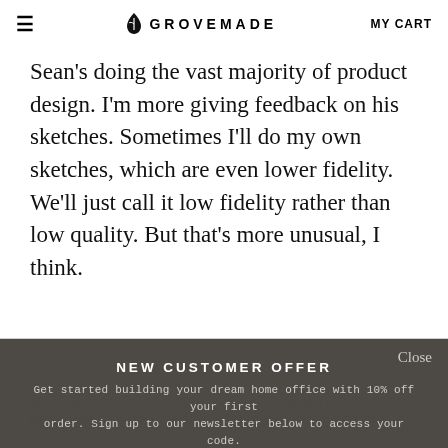≡  GROVEMADE  MY CART
Sean's doing the vast majority of product design. I'm more giving feedback on his sketches. Sometimes I'll do my own sketches, which are even lower fidelity. We'll just call it low fidelity rather than low quality. But that's more unusual, I think.
Good Design Flow
Nick: Sean, how does this fit into the overall design flow of a…
[Figure (screenshot): Email signup modal popup overlay with 'NEW CUSTOMER OFFER' heading, body text about 10% off with newsletter signup, email input field, and GET CODE button. Close button in top right. Grovemade leaf logo at top center.]
Sean: Yeah. So let's say we have our direction. We have our idea of what we want and now it's about